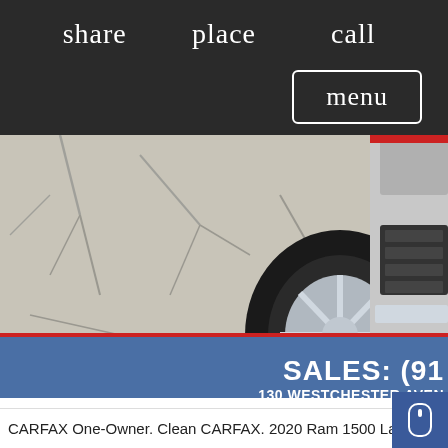share   place   call
menu
[Figure (photo): Close-up photo of a vehicle wheel/tire and front bumper corner on cracked pavement, with a blue and red sales banner overlay showing 'SALES: (91...' and '130 WESTCHESTER AVE...']
CARFAX One-Owner. Clean CARFAX. 2020 Ram 1500 Lara